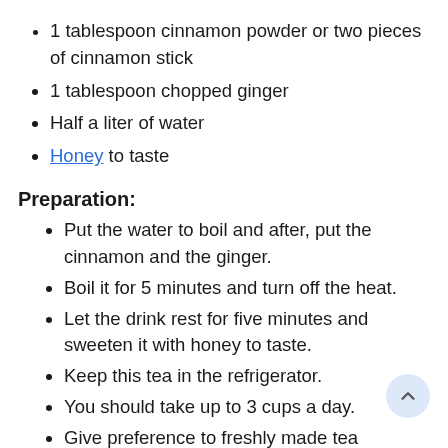1 tablespoon cinnamon powder or two pieces of cinnamon stick
1 tablespoon chopped ginger
Half a liter of water
Honey to taste
Preparation:
Put the water to boil and after, put the cinnamon and the ginger.
Boil it for 5 minutes and turn off the heat.
Let the drink rest for five minutes and sweeten it with honey to taste.
Keep this tea in the refrigerator.
You should take up to 3 cups a day.
Give preference to freshly made tea